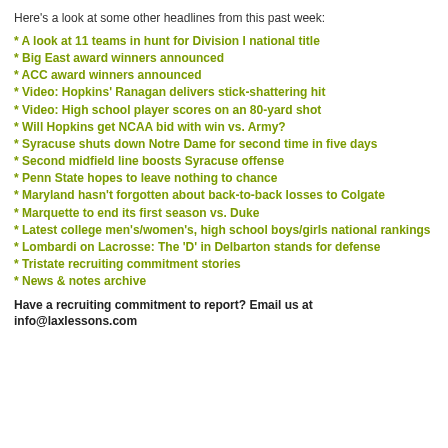Here's a look at some other headlines from this past week:
* A look at 11 teams in hunt for Division I national title
* Big East award winners announced
* ACC award winners announced
* Video: Hopkins' Ranagan delivers stick-shattering hit
* Video: High school player scores on an 80-yard shot
* Will Hopkins get NCAA bid with win vs. Army?
* Syracuse shuts down Notre Dame for second time in five days
* Second midfield line boosts Syracuse offense
* Penn State hopes to leave nothing to chance
* Maryland hasn't forgotten about back-to-back losses to Colgate
* Marquette to end its first season vs. Duke
* Latest college men's/women's, high school boys/girls national rankings
* Lombardi on Lacrosse: The 'D' in Delbarton stands for defense
* Tristate recruiting commitment stories
* News & notes archive
Have a recruiting commitment to report? Email us at info@laxlessons.com